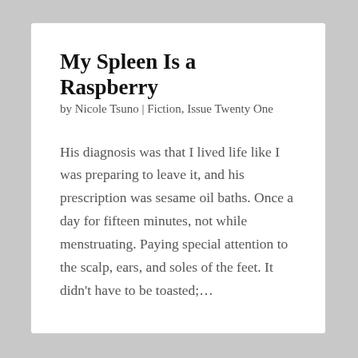My Spleen Is a Raspberry
by Nicole Tsuno | Fiction, Issue Twenty One
His diagnosis was that I lived life like I was preparing to leave it, and his prescription was sesame oil baths. Once a day for fifteen minutes, not while menstruating. Paying special attention to the scalp, ears, and soles of the feet. It didn’t have to be toasted;…